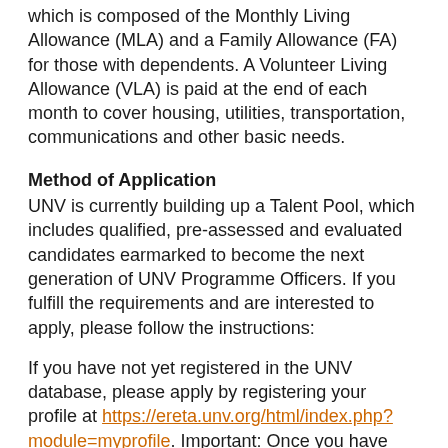which is composed of the Monthly Living Allowance (MLA) and a Family Allowance (FA) for those with dependents. A Volunteer Living Allowance (VLA) is paid at the end of each month to cover housing, utilities, transportation, communications and other basic needs.
Method of Application
UNV is currently building up a Talent Pool, which includes qualified, pre-assessed and evaluated candidates earmarked to become the next generation of UNV Programme Officers. If you fulfill the requirements and are interested to apply, please follow the instructions:
If you have not yet registered in the UNV database, please apply by registering your profile at https://ereta.unv.org/html/index.php?module=myprofile. Important: Once you have created your UNV account by validating your email address, please complete all sections of your profile. Go to ‘Special Recruitment’ section on the left, click on the ‘Edit’ button and select the advertisement code “17UNVPO_3” from the drop down list. Please do not forget to click the ‘Update’ button.